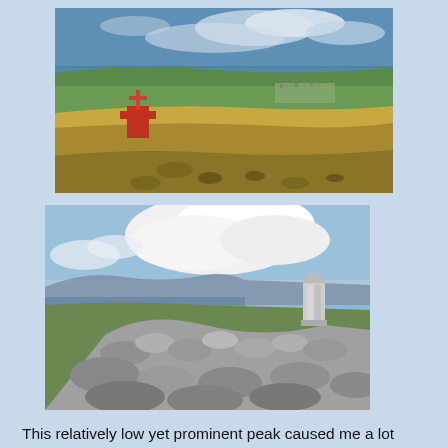[Figure (photo): Mountain summit with a red cross/marker structure on the left, overlooking a wide green valley with a town visible in the distance, under a blue sky with clouds. Grassy moorland and rocks in the foreground.]
[Figure (photo): Rocky mountain summit with a triangulation pillar (trig point) on the right, a large pile of stones (cairn) in the foreground, mountains visible in the background under a blue sky with dramatic white clouds.]
This relatively low yet prominent peak caused me a lot